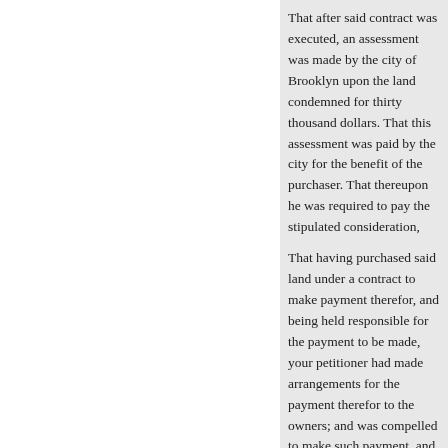That after said contract was exec… was made by the city of Brookly… dollars. That this assessment was… benefit of the purchaser. That the… pay the stipulated consideration,
That having purchased said land … payment therefor, and being held… be made, your petitioner had ma… payment therefor to the owners; … payment, and to receive only two… thirty thousand dollars, wherewit… he was, on every principle of law… conveyance to the government o… that assessments subsequently m… bound to remove. That in his con… contracts, bearing date in Decem…
That he is informed that no furth… of said department to pay said ba… just and proper; and, as in duty b…
« Anterior